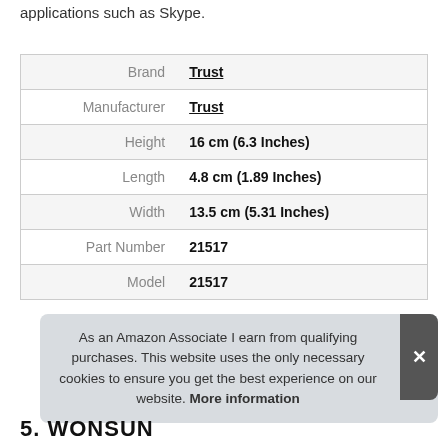applications such as Skype.
|  |  |
| --- | --- |
| Brand | Trust |
| Manufacturer | Trust |
| Height | 16 cm (6.3 Inches) |
| Length | 4.8 cm (1.89 Inches) |
| Width | 13.5 cm (5.31 Inches) |
| Part Number | 21517 |
| Model | 21517 |
As an Amazon Associate I earn from qualifying purchases. This website uses the only necessary cookies to ensure you get the best experience on our website. More information
5. WONSUN